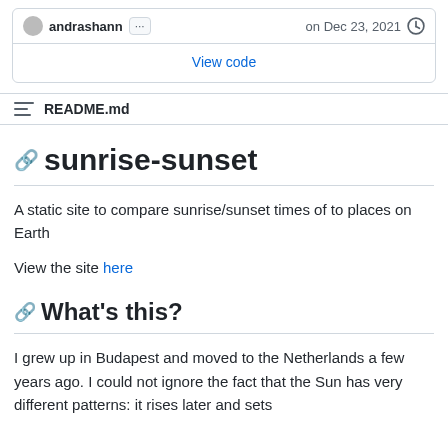andrashann  ...  on Dec 23, 2021
View code
README.md
sunrise-sunset
A static site to compare sunrise/sunset times of to places on Earth
View the site here
What's this?
I grew up in Budapest and moved to the Netherlands a few years ago. I could not ignore the fact that the Sun has very different patterns: it rises later and sets